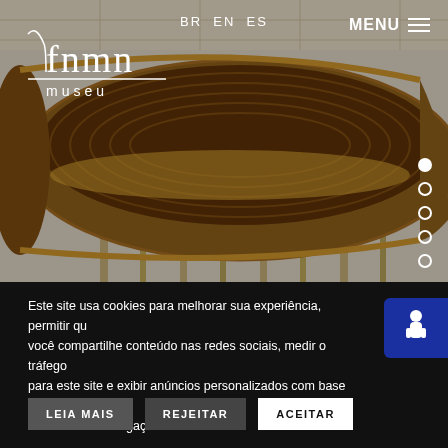[Figure (screenshot): Museum website screenshot showing a wooden boat on bamboo scaffolding displayed in a museum gallery, with white ceiling visible above]
BR EN ES
[Figure (logo): FNMN museu logo in white]
MENU
Este site usa cookies para melhorar sua experiência, permitir que você compartilhe conteúdo nas redes sociais, medir o tráfego para este site e exibir anúncios personalizados com base em sua atividade de navegação.
LEIA MAIS
REJEITAR
ACEITAR